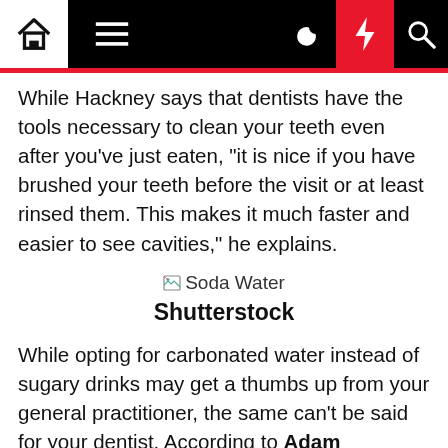Navigation bar with home, menu, moon, lightning, and search icons
While Hackney says that dentists have the tools necessary to clean your teeth even after you've just eaten, "it is nice if you have brushed your teeth before the visit or at least rinsed them. This makes it much faster and easier to see cavities," he explains.
[Figure (photo): Broken image placeholder labeled 'Soda Water']
Shutterstock
While opting for carbonated water instead of sugary drinks may get a thumbs up from your general practitioner, the same can't be said for your dentist. According to Adam Silevitch, DMD, a partner at Pediatric Dentists NYC, seltzer can cause serious problems for those who drink it regularly. "Even if it's unflavored, it contains carbonic acid, which can wear away tooth enamel," says Silevitch. While you may